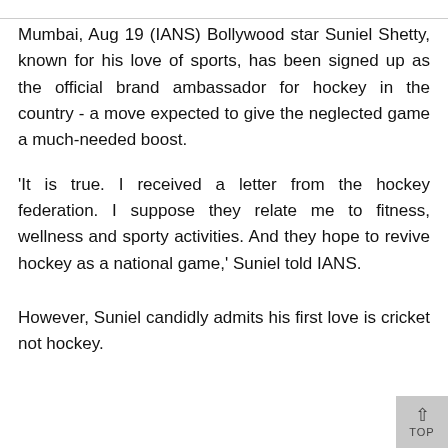Mumbai, Aug 19 (IANS) Bollywood star Suniel Shetty, known for his love of sports, has been signed up as the official brand ambassador for hockey in the country - a move expected to give the neglected game a much-needed boost.
'It is true. I received a letter from the hockey federation. I suppose they relate me to fitness, wellness and sporty activities. And they hope to revive hockey as a national game,' Suniel told IANS.
However, Suniel candidly admits his first love is cricket not hockey.